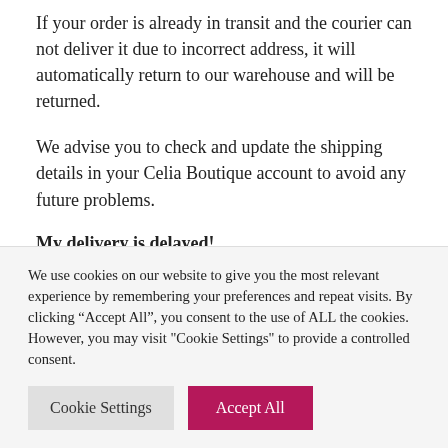If your order is already in transit and the courier can not deliver it due to incorrect address, it will automatically return to our warehouse and will be returned.
We advise you to check and update the shipping details in your Celia Boutique account to avoid any future problems.
My delivery is delayed!
We always make every effort to ensure that your order
We use cookies on our website to give you the most relevant experience by remembering your preferences and repeat visits. By clicking “Accept All”, you consent to the use of ALL the cookies. However, you may visit "Cookie Settings" to provide a controlled consent.